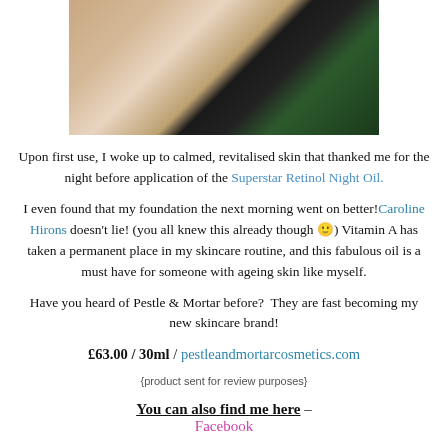[Figure (photo): Close-up photo of skin (likely cheek/face area) with dark background and green foliage visible on the right side]
Upon first use, I woke up to calmed, revitalised skin that thanked me for the night before application of the Superstar Retinol Night Oil.
I even found that my foundation the next morning went on better! Caroline Hirons doesn't lie! (you all knew this already though 😊) Vitamin A has taken a permanent place in my skincare routine, and this fabulous oil is a must have for someone with ageing skin like myself.
Have you heard of Pestle & Mortar before?  They are fast becoming my new skincare brand!
£63.00 / 30ml / pestleandmortarcosmetics.com
(product sent for review purposes)
You can also find me here – Facebook